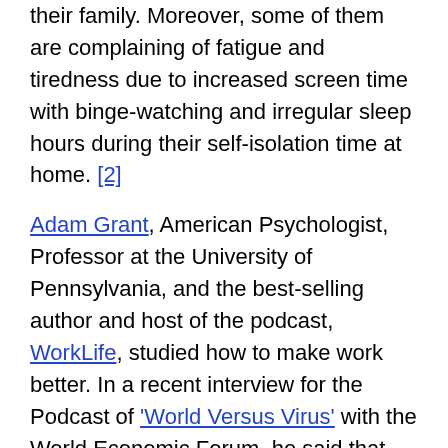their family. Moreover, some of them are complaining of fatigue and tiredness due to increased screen time with binge-watching and irregular sleep hours during their self-isolation time at home. [2]
Adam Grant, American Psychologist, Professor at the University of Pennsylvania, and the best-selling author and host of the podcast, WorkLife, studied how to make work better. In a recent interview for the Podcast of 'World Versus Virus' with the World Economic Forum, he said that owing to the current pandemic environment redesigning the jobs seems a necessary step to be taken as a change in the workplace.[3] Now that means you have to make the workplace more motivating, try to build cultures